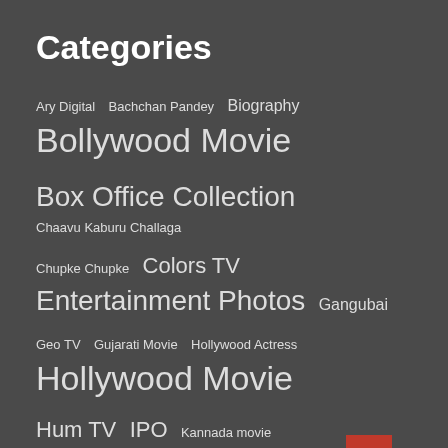Categories
Ary Digital  Bachchan Pandey  Biography  Bollywood Movie
Box Office Collection  Chaavu Kaburu Challaga
Chupke Chupke  Colors TV  Entertainment Photos  Gangubai
Geo TV  Gujarati Movie  Hollywood Actress  Hollywood Movie
Hum TV  IPO  Kannada movie  Laal Singh Chaddha
Live News  Malayalam Movie  Movie News
Movie review  Movie Reviews  Mtv  News  Pakistani Actor
Pakistani Drama